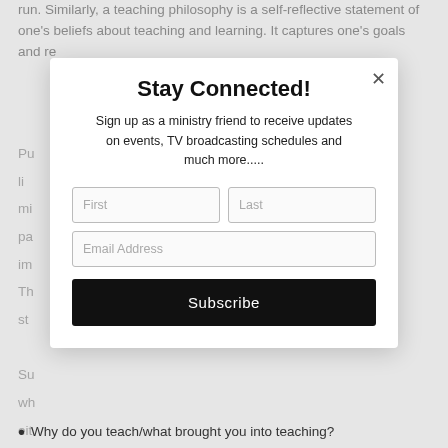run. Similarly, a teaching philosophy is a self-reflective statement of one's beliefs about teaching and learning. It captures one's goals and re
Pu
li
mi
pa
im
Th
st
[Figure (screenshot): A modal popup overlay with title 'Stay Connected!', description text 'Sign up as a ministry friend to receive updates on events, TV broadcasting schedules and much more.....', form fields for First, Last, Email Address, a Subscribe button, and a close (X) button in the top right.]
Why do you teach/what brought you into teaching?